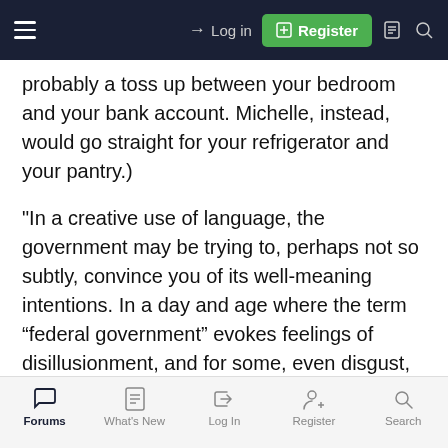Log in   Register
probably a toss up between your bedroom and your bank account. Michelle, instead, would go straight for your refrigerator and your pantry.)
"In a creative use of language, the government may be trying to, perhaps not so subtly, convince you of its well-meaning intentions. In a day and age where the term “federal government” evokes feelings of disillusionment, and for some, even disgust, the Obama administration is opting for the softer, and evidently preferable term “federal family.”
Forums   What's New   Log In   Register   Search